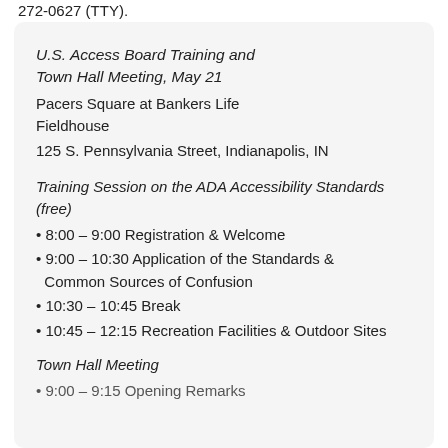272-0627 (TTY).
U.S. Access Board Training and Town Hall Meeting, May 21
Pacers Square at Bankers Life Fieldhouse
125 S. Pennsylvania Street, Indianapolis, IN
Training Session on the ADA Accessibility Standards (free)
8:00 – 9:00 Registration & Welcome
9:00 – 10:30 Application of the Standards & Common Sources of Confusion
10:30 – 10:45 Break
10:45 – 12:15 Recreation Facilities & Outdoor Sites
Town Hall Meeting
9:00 – 9:15 Opening Remarks